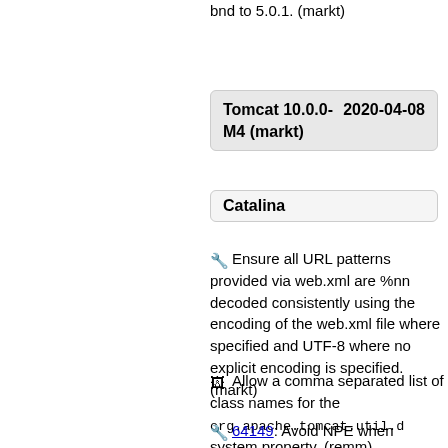bnd to 5.0.1. (markt)
Tomcat 10.0.0-M4 (markt)    2020-04-08
Catalina
🔧 Ensure all URL patterns provided via web.xml are %nn decoded consistently using the encoding of the web.xml file where specified and UTF-8 where no explicit encoding is specified. (markt)
🖼 Allow a comma separated list of class names for the org.apache.tomcat.util.d system property. (remm)
🔧 64149: Avoid NPE when